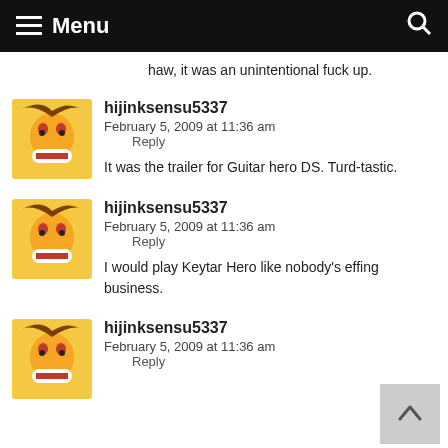Menu
haw, it was an unintentional fuck up.
hijinksensu5337
February 5, 2009 at 11:36 am
Reply
It was the trailer for Guitar hero DS. Turd-tastic.
hijinksensu5337
February 5, 2009 at 11:36 am
Reply
I would play Keytar Hero like nobody's effing business.
hijinksensu5337
February 5, 2009 at 11:36 am
Reply